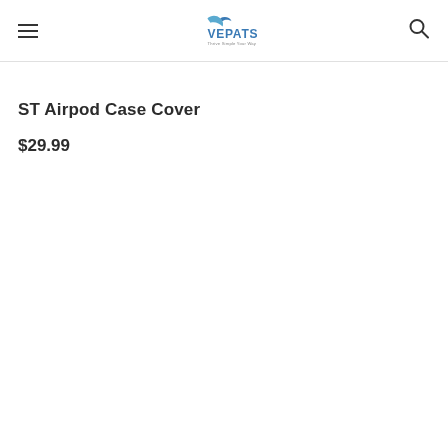VEPATS
ST Airpod Case Cover
$29.99